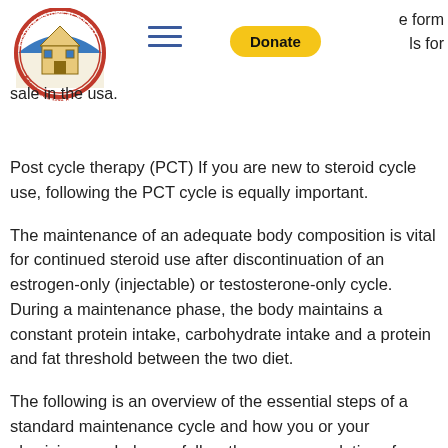e form
ls for
sale in the usa.
Post cycle therapy (PCT) If you are new to steroid cycle use, following the PCT cycle is equally important.
The maintenance of an adequate body composition is vital for continued steroid use after discontinuation of an estrogen-only (injectable) or testosterone-only cycle. During a maintenance phase, the body maintains a constant protein intake, carbohydrate intake and a protein and fat threshold between the two diet.
The following is an overview of the essential steps of a standard maintenance cycle and how you or your physician can help you follow the recommendations for both